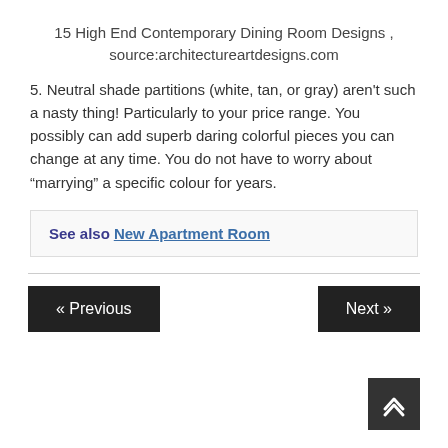15 High End Contemporary Dining Room Designs , source:architectureartdesigns.com
5. Neutral shade partitions (white, tan, or gray) aren't such a nasty thing! Particularly to your price range. You possibly can add superb daring colorful pieces you can change at any time. You do not have to worry about “marrying” a specific colour for years.
See also  New Apartment Room
« Previous
Next »